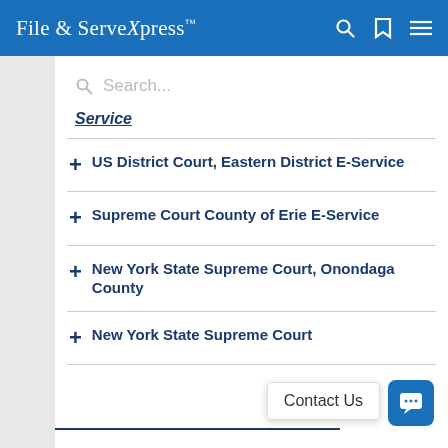File & Serve Xpress
Search...
Service
+ US District Court, Eastern District E-Service
+ Supreme Court County of Erie E-Service
+ New York State Supreme Court, Onondaga County
+ New York State Supreme Court
Contact Us